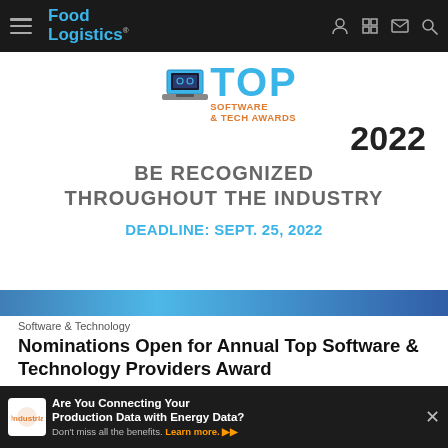Food Logistics
[Figure (infographic): Top Software & Tech Awards 2022 banner — BE RECOGNIZED THROUGHOUT THE INDUSTRY — DEADLINE: SEPT. 25, 2022]
Software & Technology
Nominations Open for Annual Top Software & Technology Providers Award
This award honors software and technology providers that ensure a safe, efficient and reliable global cold food and beverage supply chain.
Brielle Jac...
[Figure (infographic): ndustrial advertisement: Are You Connecting Your Production Data with Energy Data? Don't miss all the benefits. Learn more.]